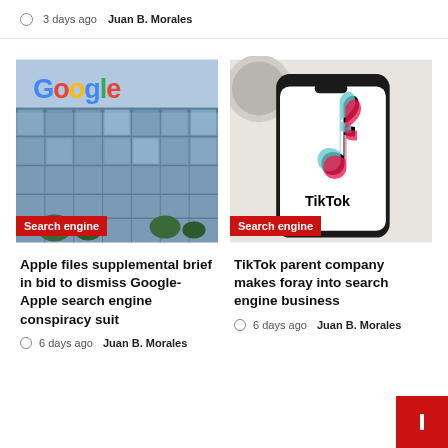3 days ago  Juan B. Morales
[Figure (photo): Google headquarters building with colorful Google logo on glass facade]
Search engine
Apple files supplemental brief in bid to dismiss Google-Apple search engine conspiracy suit
6 days ago  Juan B. Morales
[Figure (photo): Smartphone displaying TikTok app logo on white screen, placed on a surface]
Search engine
TikTok parent company makes foray into search engine business
6 days ago  Juan B. Morales